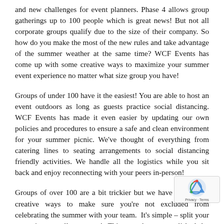and new challenges for event planners. Phase 4 allows group gatherings up to 100 people which is great news! But not all corporate groups qualify due to the size of their company. So how do you make the most of the new rules and take advantage of the summer weather at the same time? WCF Events has come up with some creative ways to maximize your summer event experience no matter what size group you have!
Groups of under 100 have it the easiest! You are able to host an event outdoors as long as guests practice social distancing. WCF Events has made it even easier by updating our own policies and procedures to ensure a safe and clean environment for your summer picnic. We've thought of everything from catering lines to seating arrangements to social distancing friendly activities. We handle all the logistics while you sit back and enjoy reconnecting with your peers in-person!
Groups of over 100 are a bit trickier but we have established creative ways to make sure you're not excluded from celebrating the summer with your team.  It's simple – split your team into smaller groups! This can be accomplished by splitting your group by department or creating a sign up for separate